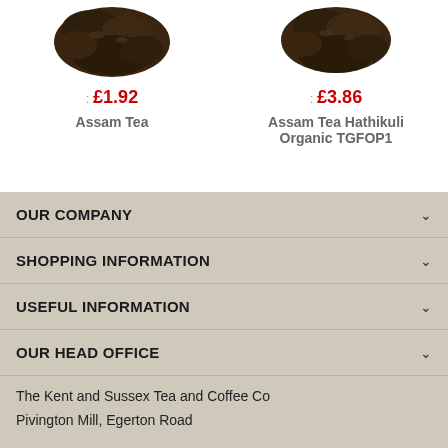[Figure (photo): Loose leaf Assam Tea from above on white background]
: £1.92
Assam Tea
[Figure (photo): Loose leaf Assam Tea Hathikuli Organic TGFOP1 from above on white background]
: £3.86
Assam Tea Hathikuli Organic TGFOP1
OUR COMPANY
SHOPPING INFORMATION
USEFUL INFORMATION
OUR HEAD OFFICE
The Kent and Sussex Tea and Coffee Co
Pivington Mill, Egerton Road